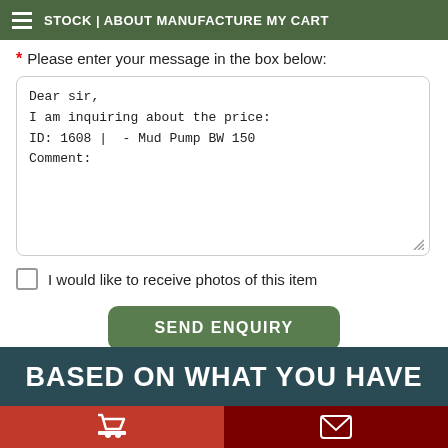STOCK | ABOUT MANUFACTURE MY CART
* Please enter your message in the box below:
Dear sir,
I am inquiring about the price:
ID: 1608 |  - Mud Pump BW 150
Comment:
I would like to receive photos of this item
SEND ENQUIRY
Enquiries: 4830
BASED ON WHAT YOU HAVE